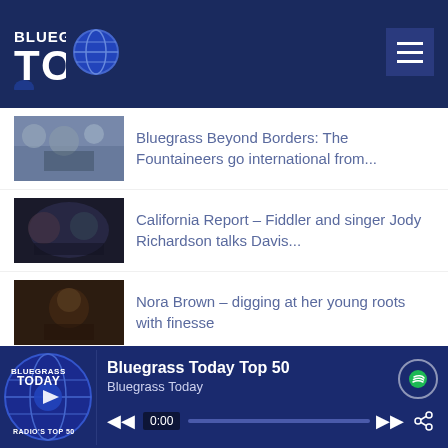Bluegrass Today
Bluegrass Beyond Borders: The Fountaineers go international from...
California Report – Fiddler and singer Jody Richardson talks Davis...
Nora Brown – digging at her young roots with finesse
Bluegrass Beyond Borders: Just As Blue puts a Swedish spin on their...
Dan Tyminski talks Tony Rice EP, his own band, and AKUS
Bluegrass Today Top 50
Bluegrass Today
0:00